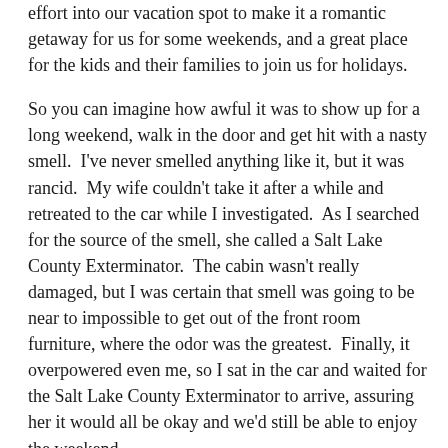effort into our vacation spot to make it a romantic getaway for us for some weekends, and a great place for the kids and their families to join us for holidays.
So you can imagine how awful it was to show up for a long weekend, walk in the door and get hit with a nasty smell.  I've never smelled anything like it, but it was rancid.  My wife couldn't take it after a while and retreated to the car while I investigated.  As I searched for the source of the smell, she called a Salt Lake County Exterminator.  The cabin wasn't really damaged, but I was certain that smell was going to be near to impossible to get out of the front room furniture, where the odor was the greatest.  Finally, it overpowered even me, so I sat in the car and waited for the Salt Lake County Exterminator to arrive, assuring her it would all be okay and we'd still be able to enjoy the weekend.
When the Salt Lake County Exterminator arrived, he walked right over to the fireplace in the front room, shined a flashlight